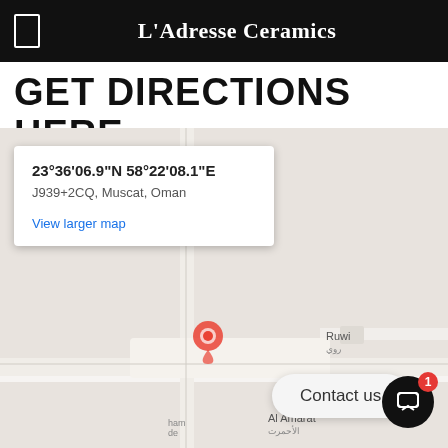L'Adresse Ceramics
GET DIRECTIONS HERE
[Figure (map): Google Maps embed showing location at 23°36'06.9"N 58°22'08.1"E, J939+2CQ, Muscat, Oman with a red location pin. Map popup shows coordinates and address with 'View larger map' link. 'Contact us' button and chat icon visible at bottom.]